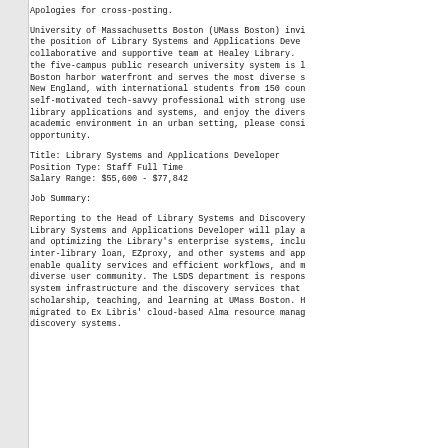Apologies for cross-posting.
University of Massachusetts Boston (UMass Boston) invites applications for the position of Library Systems and Applications Developer to join the collaborative and supportive team at Healey Library. The campus, part of the five-campus public research university system is located on the Boston harbor waterfront and serves the most diverse student body in New England, with international students from 150 countries. If you are a self-motivated tech-savvy professional with strong user-focus, enjoy library applications and systems, and enjoy the diversity of an urban academic environment in an urban setting, please consider this opportunity.
Title: Library Systems and Applications Developer
Position Type: Staff Full Time
Salary Range: $55,600 - $77,842
Job Summary:
Reporting to the Head of Library Systems and Discovery, the Library Systems and Applications Developer will play a key role in maintaining and optimizing the Library's enterprise systems, including Alma/Primo, inter-library loan, EZproxy, and other systems and applications that enable quality services and efficient workflows, and meet the needs of a diverse user community. The LSDS department is responsible for the system infrastructure and the discovery services that support research, scholarship, teaching, and learning at UMass Boston. Healey Library recently migrated to Ex Libris' cloud-based Alma resource management and Primo discovery systems.